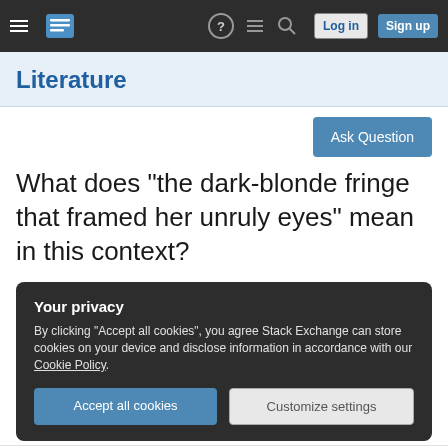Literature — Stack Exchange navigation bar with Log in and Sign up buttons
Literature
Ask Question
What does "the dark-blonde fringe that framed her unruly eyes" mean in this context?
Your privacy
By clicking "Accept all cookies", you agree Stack Exchange can store cookies on your device and disclose information in accordance with our Cookie Policy.
Accept all cookies   Customize settings
I turned back to Karolina. She was